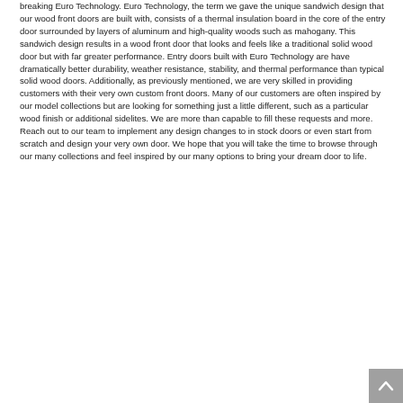breaking Euro Technology. Euro Technology, the term we gave the unique sandwich design that our wood front doors are built with, consists of a thermal insulation board in the core of the entry door surrounded by layers of aluminum and high-quality woods such as mahogany. This sandwich design results in a wood front door that looks and feels like a traditional solid wood door but with far greater performance. Entry doors built with Euro Technology are have dramatically better durability, weather resistance, stability, and thermal performance than typical solid wood doors. Additionally, as previously mentioned, we are very skilled in providing customers with their very own custom front doors. Many of our customers are often inspired by our model collections but are looking for something just a little different, such as a particular wood finish or additional sidelites. We are more than capable to fill these requests and more. Reach out to our team to implement any design changes to in stock doors or even start from scratch and design your very own door. We hope that you will take the time to browse through our many collections and feel inspired by our many options to bring your dream door to life.
[Figure (other): Navigation button with upward-pointing chevron arrow on grey background, located at bottom-right corner of the page.]